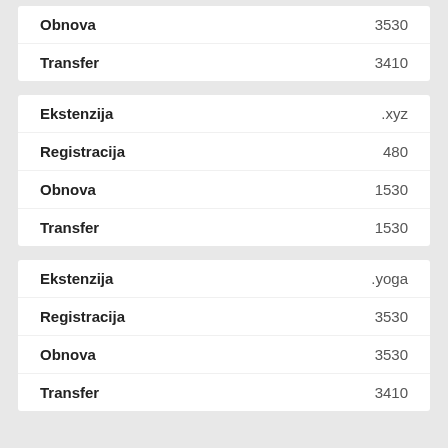|  |  |
| --- | --- |
| Obnova | 3530 |
| Transfer | 3410 |
|  |  |
| --- | --- |
| Ekstenzija | .xyz |
| Registracija | 480 |
| Obnova | 1530 |
| Transfer | 1530 |
|  |  |
| --- | --- |
| Ekstenzija | .yoga |
| Registracija | 3530 |
| Obnova | 3530 |
| Transfer | 3410 |